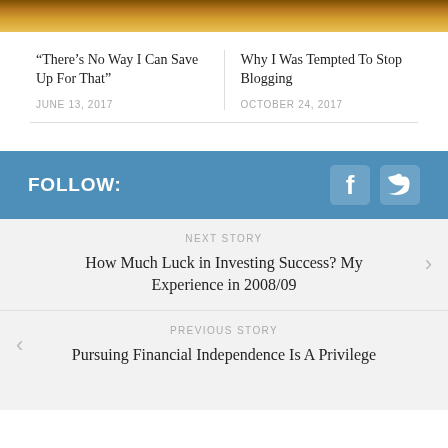[Figure (photo): Two side-by-side article thumbnail images with warm golden/brown tones at top of page]
“There’s No Way I Can Save Up For That”
JUNE 13, 2017
Why I Was Tempted To Stop Blogging
OCTOBER 24, 2017
FOLLOW:
NEXT STORY
How Much Luck in Investing Success? My Experience in 2008/09
PREVIOUS STORY
Pursuing Financial Independence Is A Privilege